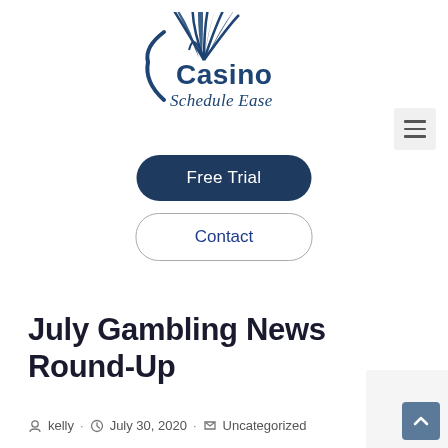[Figure (logo): Casino Schedule Ease logo with palm leaf icon and curved text]
[Figure (other): Hamburger menu icon (three horizontal lines) in a light grey square]
Free Trial
Contact
July Gambling News Round-Up
kelly · July 30, 2020 · Uncategorized